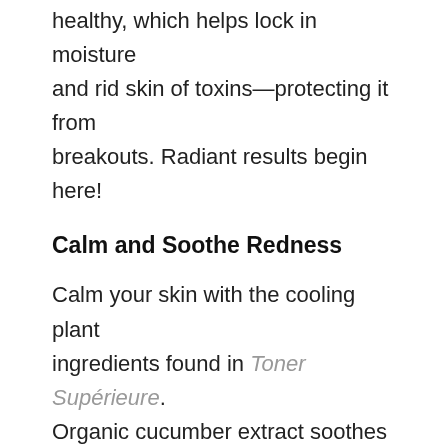healthy, which helps lock in moisture and rid skin of toxins—protecting it from breakouts. Radiant results begin here!
Calm and Soothe Redness
Calm your skin with the cooling plant ingredients found in Toner Supérieure. Organic cucumber extract soothes and brightens, while organic peppermint extract is cleansing and uplifting. Aloe Vera's blend of amino acids, antioxidants, vitamins and minerals have been used since ancient Egyptian times to rejuvenate, protect, soothe and beautify the skin. It calms irritations and restores